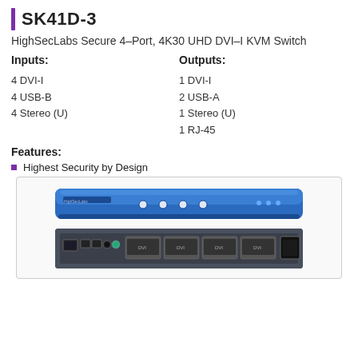SK41D-3
HighSecLabs Secure 4-Port, 4K30 UHD DVI-I KVM Switch
Inputs:
Outputs:
4 DVI-I
4 USB-B
4 Stereo (U)
1 DVI-I
2 USB-A
1 Stereo (U)
1 RJ-45
Features:
Highest Security by Design
[Figure (photo): Front and rear views of the SK41D-3 HighSecLabs Secure 4-Port KVM Switch, shown as a blue rack-mounted device with buttons on front panel and ports on rear panel.]